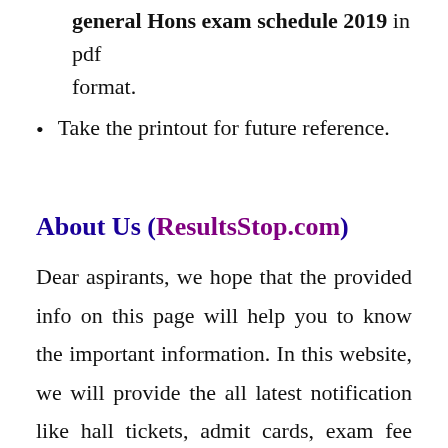general Hons exam schedule 2019 in pdf format.
Take the printout for future reference.
About Us (ResultsStop.com)
Dear aspirants, we hope that the provided info on this page will help you to know the important information. In this website, we will provide the all latest notification like hall tickets, admit cards, exam fee notifications, results, Exam timetables, Syllabus, Academic Calendars and many more. If you want to check the latest news then bookmark this page. So, that you can directly open this page and check the